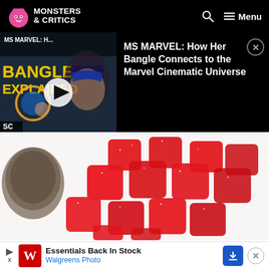MONSTERS & CRITICS
[Figure (screenshot): MS Marvel video thumbnail showing character with mask and text 'MS MARVEL: H... BANGLE EXPLAINED' with play button and SC watermark]
MS MARVEL: How Her Bangle Connects to the Marvel Cinematic Universe
[Figure (photo): Red sugary cannabis gummy candies spilling from a tin container on white background]
Why Is This New Cannabis Discovery So Popular With Seniors In Virginia?
Report Ad
Healthline
[Figure (screenshot): Walgreens Photo advertisement banner: Essentials Back In Stock, Walgreens Photo, with red W logo and blue arrow]
Essentials Back In Stock
Walgreens Photo